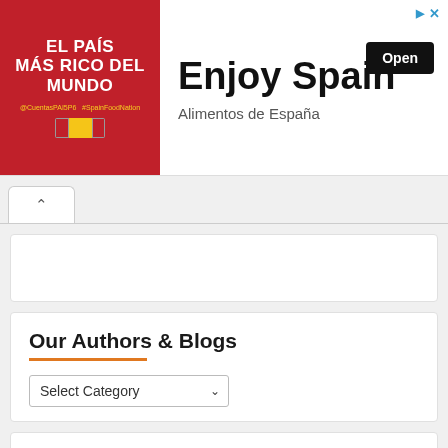[Figure (infographic): Advertisement banner for 'Enjoy Spain / Alimentos de España' featuring red background with white text 'EL PAÍS MÁS RICO DEL MUNDO' on the left, and large bold text 'Enjoy Spain' with 'Alimentos de España' subtitle and an 'Open' button on the right.]
Our Authors & Blogs
Select Category
Visit Our Sister Site
Visit Live By Truth For Classic New Covenant